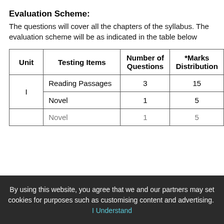Evaluation Scheme:
The questions will cover all the chapters of the syllabus. The evaluation scheme will be as indicated in the table below
| Unit | Testing Items | Number of Questions | *Marks Distribution |
| --- | --- | --- | --- |
| I | Reading Passages | 3 | 15 |
| I | Novel | 1 | 5 |
|  | Novel | 1 | 5 |
By using this website, you agree that we and our partners may set cookies for purposes such as customising content and advertising. I Understand